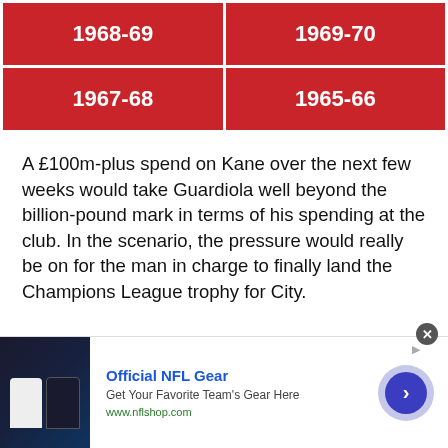| 1968-69 | 1969-70 |
| 1967-68 | 1965-66 |
A £100m-plus spend on Kane over the next few weeks would take Guardiola well beyond the billion-pound mark in terms of his spending at the club. In the scenario, the pressure would really be on for the man in charge to finally land the Champions League trophy for City.
[Figure (infographic): Advertisement banner for Official NFL Gear from nflshop.com showing jerseys and a circular arrow button]